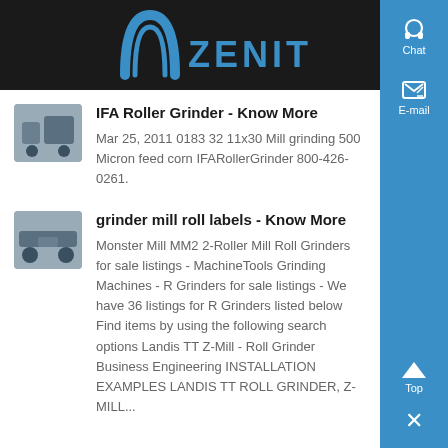[Figure (logo): Zenit company logo with arch icon and ZENIT text in blue on dark background]
IFA Roller Grinder - Know More
Mar 25, 2011 0183 32 11x30 Mill grinding 500 Micron feed corn IFARollerGrinder 800-426-0261.
grinder mill roll labels - Know More
Monster Mill MM2 2-Roller Mill Roll Grinders for sale listings - MachineTools Grinding Machines - R Grinders for sale listings - We have 36 listings for R Grinders listed below Find items by using the following search options Landis TT Z-Mill - Roll Grinder Business Engineering INSTALLATION EXAMPLES LANDIS TT ROLL GRINDER, Z-MILL...